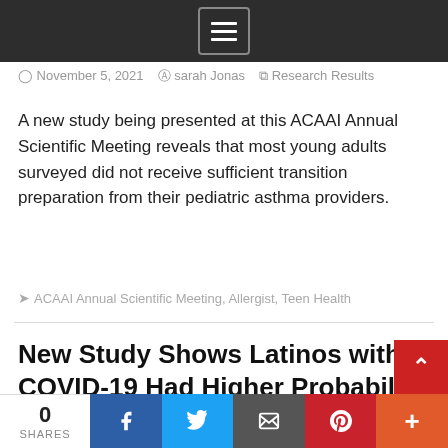Menu
November 5, 2021   sarah Jonas   Research Results
A new study being presented at this ACAAI Annual Scientific Meeting reveals that most young adults surveyed did not receive sufficient transition preparation from their pediatric asthma providers.
ACAAI Annual Scientific Meeting, Allergist, Teen Health
New Study Shows Latinos with COVID-19 Had Higher Probability of Developing Asthma Exacerbations